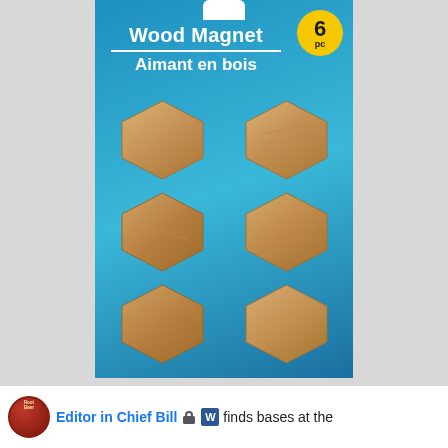[Figure (photo): Product packaging photo showing a blue blister card of 6 hexagonal wooden magnets labeled 'Wood Magnet / Aimant en bois' with a yellow circular badge showing '6 pc' in top right corner.]
Editor in Chief Bill finds bases at the